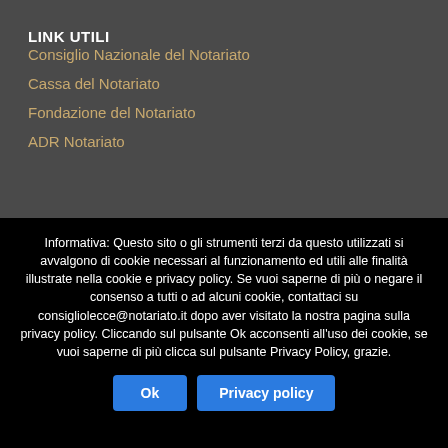LINK UTILI
Consiglio Nazionale del Notariato
Cassa del Notariato
Fondazione del Notariato
ADR Notariato
Informativa: Questo sito o gli strumenti terzi da questo utilizzati si avvalgono di cookie necessari al funzionamento ed utili alle finalità illustrate nella cookie e privacy policy. Se vuoi saperne di più o negare il consenso a tutti o ad alcuni cookie, contattaci su consigliolecce@notariato.it dopo aver visitato la nostra pagina sulla privacy policy. Cliccando sul pulsante Ok acconsenti all'uso dei cookie, se vuoi saperne di più clicca sul pulsante Privacy Policy, grazie.
Ok
Privacy policy